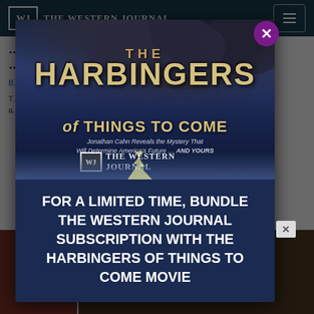THE WESTERN JOURNAL
THE HARBINGERS OF THINGS TO COME
Jonathan Cahn Reveals the Mystery That Will Determine America's Future ... AND YOURS
THE WESTERN JOURNAL
FOR A LIMITED TIME, BUNDLE THE WESTERN JOURNAL SUBSCRIPTION WITH THE HARBINGERS OF THINGS TO COME MOVIE